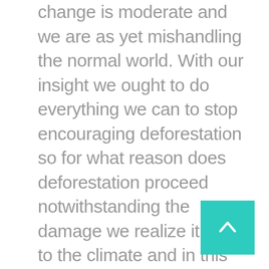change is moderate and we are as yet mishandling the normal world. With our insight we ought to do everything we can to stop encouraging deforestation so for what reason does deforestation proceed notwithstanding the damage we realize it does to the climate and in this way ourselves?
The appropriate responses are not clear yet without a doubt lie with us and our urgent requirement for the assets the backwoods gives. The requirements of a monstrous human populace must be met day by day putting the regular world under huge pressing factor. We continually search for better approaches to get what we need quicker and all the more effectively.